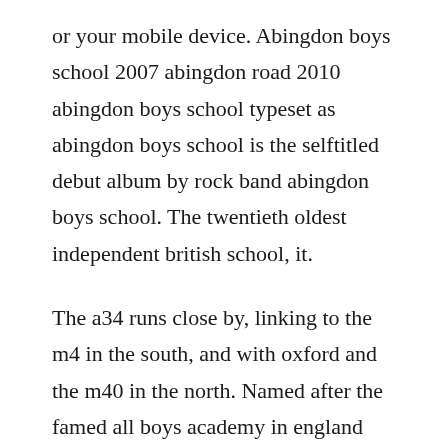or your mobile device. Abingdon boys school 2007 abingdon road 2010 abingdon boys school typeset as abingdon boys school is the selftitled debut album by rock band abingdon boys school. The twentieth oldest independent british school, it.
The a34 runs close by, linking to the m4 in the south, and with oxford and the m40 in the north. Named after the famed all boys academy in england that gained late20th century notoriety for being the school that the members of radiohead attended, abingdon